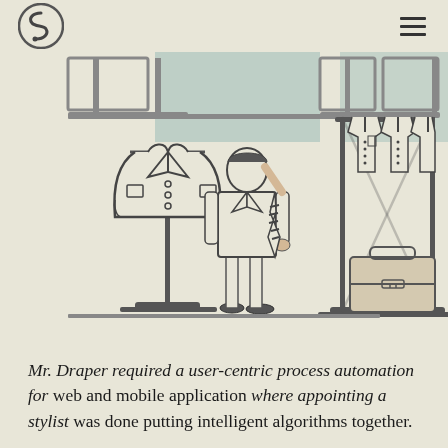Squiggly logo and hamburger menu
[Figure (illustration): Line art illustration of a clothing store/wardrobe scene: a suit jacket on a mannequin stand on the left, a person (stylist) in the center holding a striped tie, and a clothing rack with shirts and a briefcase on the right. Color palette is beige/cream with muted teal accents. Drawn in a flat, minimal line-art style.]
Mr. Draper required a user-centric process automation for web and mobile application where appointing a stylist was done putting intelligent algorithms together.